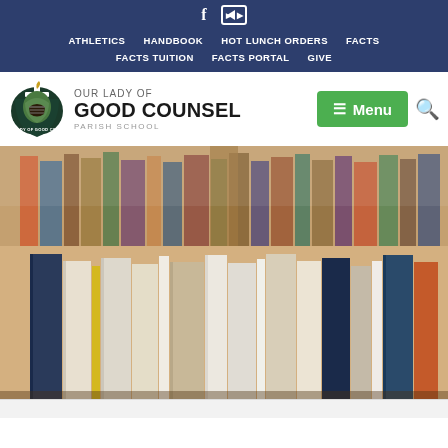Social icons: Facebook, YouTube
ATHLETICS | HANDBOOK | HOT LUNCH ORDERS | FACTS | FACTS TUITION | FACTS PORTAL | GIVE
OUR LADY OF GOOD COUNSEL PARISH SCHOOL
[Figure (screenshot): School website header screenshot showing navigation bar with links (Athletics, Handbook, Hot Lunch Orders, Facts, Facts Tuition, Facts Portal, Give), school logo with Crusaders mascot, school name 'Our Lady of Good Counsel Parish School', green Menu button, search icon, and a hero image of books standing upright on a shelf]
[Figure (photo): Close-up photo of multiple books standing upright on a library shelf, with blurred bookshelves in the background]